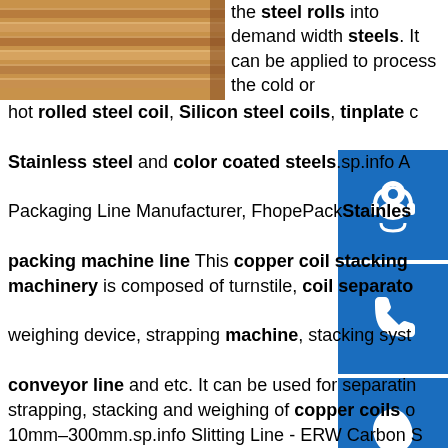[Figure (photo): Stacked copper/steel coils or rolls, metallic warm tone, side view]
the steel rolls into demand width steels. It can be applied to process the cold or hot rolled steel coil, Silicon steel coils, tinplate Stainless steel and color coated steels.sp.info A Packaging Line Manufacturer, FhopePackStainless packing machine line This copper coil stacking machinery is composed of turnstile, coil separator weighing device, strapping machine, stacking system conveyor line and etc. It can be used for separating, strapping, stacking and weighing of copper coils 10mm–300mm.sp.info Slitting Line - ERW Carbon Steel Tube Mill,Horizontal ...It has advantages such as proper layout, easy operation, highly automated and high production efficiency. This line is adaptable to process cold-rolled and hot-rolled coils, silicon steel coils, stainless coils, colored coils, aluminum coils, and all sorts of plated and coated coils, and it widely applies to many industries like automobiles, containers, household